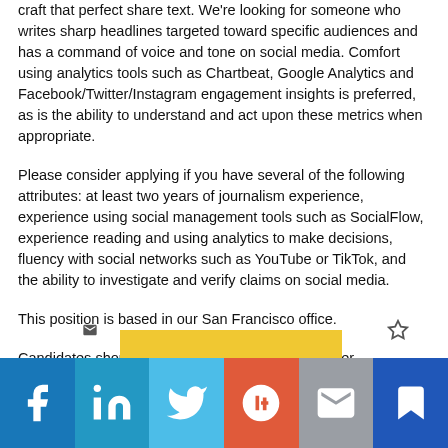craft that perfect share text. We're looking for someone who writes sharp headlines targeted toward specific audiences and has a command of voice and tone on social media. Comfort using analytics tools such as Chartbeat, Google Analytics and Facebook/Twitter/Instagram engagement insights is preferred, as is the ability to understand and act upon these metrics when appropriate.
Please consider applying if you have several of the following attributes: at least two years of journalism experience, experience using social management tools such as SocialFlow, experience reading and using analytics to make decisions, fluency with social networks such as YouTube or TikTok, and the ability to investigate and verify claims on social media.
This position is based in our San Francisco office.
Candidates should upload a résumé and cover letter
[Figure (other): Social sharing bar at the bottom with icons for Facebook, LinkedIn, Twitter, Google+, Email, and Bookmark]